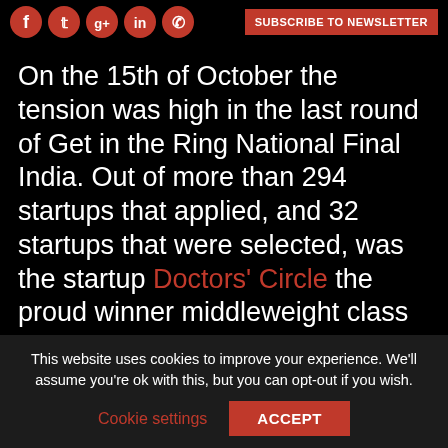[Social icons: Facebook, Twitter, Google+, LinkedIn, WhatsApp] SUBSCRIBE TO NEWSLETTER
On the 15th of October the tension was high in the last round of Get in the Ring National Final India. Out of more than 294 startups that applied, and 32 startups that were selected, was the startup Doctors' Circle the proud winner middleweight class of the Get in the Ring India. Docters' Circle is the largest healthcare video content platform...
This website uses cookies to improve your experience. We'll assume you're ok with this, but you can opt-out if you wish. Cookie settings ACCEPT